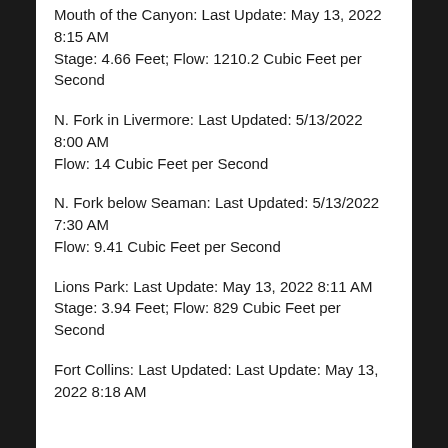Mouth of the Canyon: Last Update: May 13, 2022 8:15 AM
Stage: 4.66 Feet; Flow: 1210.2 Cubic Feet per Second
N. Fork in Livermore: Last Updated: 5/13/2022 8:00 AM
Flow: 14 Cubic Feet per Second
N. Fork below Seaman: Last Updated: 5/13/2022 7:30 AM
Flow: 9.41 Cubic Feet per Second
Lions Park: Last Update: May 13, 2022 8:11 AM
Stage: 3.94 Feet; Flow: 829 Cubic Feet per Second
Fort Collins: Last Updated: Last Update: May 13, 2022 8:18 AM